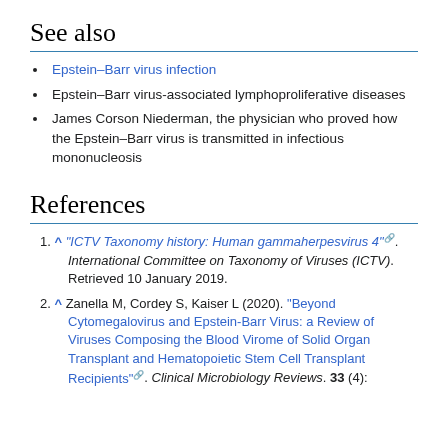See also
Epstein–Barr virus infection
Epstein–Barr virus-associated lymphoproliferative diseases
James Corson Niederman, the physician who proved how the Epstein–Barr virus is transmitted in infectious mononucleosis
References
^ "ICTV Taxonomy history: Human gammaherpesvirus 4". International Committee on Taxonomy of Viruses (ICTV). Retrieved 10 January 2019.
^ Zanella M, Cordey S, Kaiser L (2020). "Beyond Cytomegalovirus and Epstein-Barr Virus: a Review of Viruses Composing the Blood Virome of Solid Organ Transplant and Hematopoietic Stem Cell Transplant Recipients". Clinical Microbiology Reviews. 33 (4):